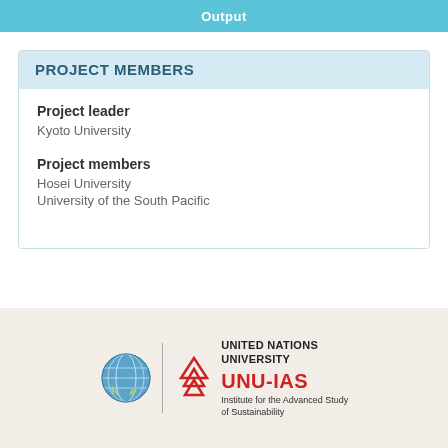Output
PROJECT MEMBERS
Project leader
Kyoto University
Project members
Hosei University
University of the South Pacific
[Figure (logo): United Nations University UNU-IAS logo with UN globe emblem and red triangular UNU symbol]